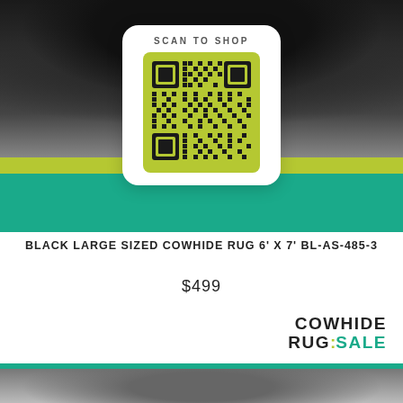[Figure (photo): Top portion of a black cowhide rug product photo with color bars and a QR code overlay saying SCAN TO SHOP]
BLACK LARGE SIZED COWHIDE RUG 6' X 7' BL-AS-485-3
$499
[Figure (logo): Cowhide Rug Sale logo in black and teal with yellow-green colon]
[Figure (photo): Bottom portion of a black and white cowhide rug product photo]